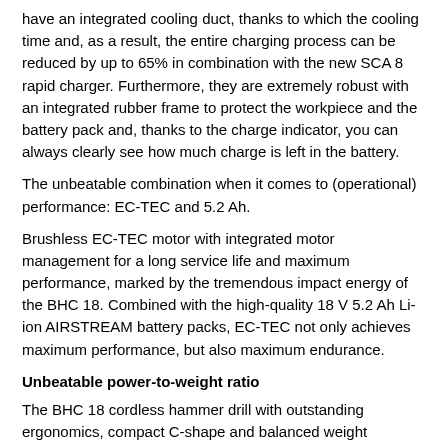have an integrated cooling duct, thanks to which the cooling time and, as a result, the entire charging process can be reduced by up to 65% in combination with the new SCA 8 rapid charger. Furthermore, they are extremely robust with an integrated rubber frame to protect the workpiece and the battery pack and, thanks to the charge indicator, you can always clearly see how much charge is left in the battery.
The unbeatable combination when it comes to (operational) performance: EC-TEC and 5.2 Ah.
Brushless EC-TEC motor with integrated motor management for a long service life and maximum performance, marked by the tremendous impact energy of the BHC 18. Combined with the high-quality 18 V 5.2 Ah Li-ion AIRSTREAM battery packs, EC-TEC not only achieves maximum performance, but also maximum endurance.
Unbeatable power-to-weight ratio
The BHC 18 cordless hammer drill with outstanding ergonomics, compact C-shape and balanced weight distribution.
Work effortlessly, even overhead
The BHC has the best power-to-weight ratio in the 18 volt class,